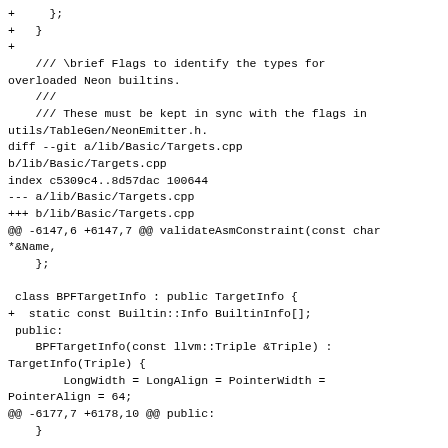+     };
+   }
+
    /// \brief Flags to identify the types for overloaded Neon builtins.
    ///
    /// These must be kept in sync with the flags in utils/TableGen/NeonEmitter.h.
diff --git a/lib/Basic/Targets.cpp b/lib/Basic/Targets.cpp
index c5309c4..8d57dac 100644
--- a/lib/Basic/Targets.cpp
+++ b/lib/Basic/Targets.cpp
@@ -6147,6 +6147,7 @@ validateAsmConstraint(const char *&Name,
     };

 class BPFTargetInfo : public TargetInfo {
+  static const Builtin::Info BuiltinInfo[];
 public:
    BPFTargetInfo(const llvm::Triple &Triple) : TargetInfo(Triple) {
        LongWidth = LongAlign = PointerWidth = PointerAlign = 64;
@@ -6177,7 +6178,10 @@ public:
    }

    void getTargetBuiltins(const Builtin::Info *&Records,
-                         unsigned &NumRecords) const
-   ...